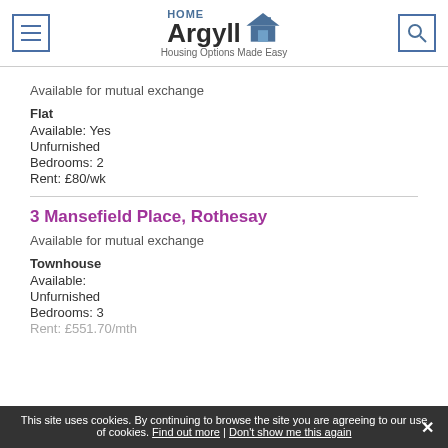[Figure (logo): Home Argyll logo with house icon and tagline 'Housing Options Made Easy']
Available for mutual exchange
Flat
Available: Yes
Unfurnished
Bedrooms: 2
Rent: £80/wk
3 Mansefield Place, Rothesay
Available for mutual exchange
Townhouse
Available:
Unfurnished
Bedrooms: 3
Rent: £551.70/mth
This site uses cookies. By continuing to browse the site you are agreeing to our use of cookies. Find out more | Don't show me this again